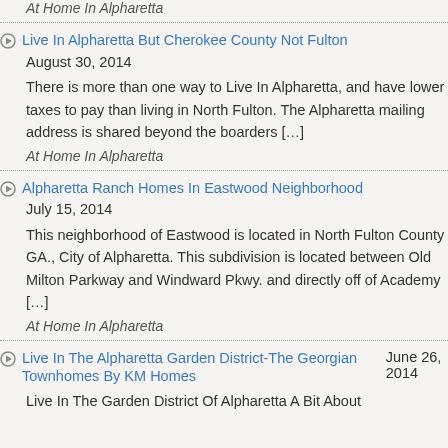At Home In Alpharetta
Live In Alpharetta But Cherokee County Not Fulton
August 30, 2014
There is more than one way to Live In Alpharetta, and have lower taxes to pay than living in North Fulton. The Alpharetta mailing address is shared beyond the boarders [...]
At Home In Alpharetta
Alpharetta Ranch Homes In Eastwood Neighborhood
July 15, 2014
This neighborhood of Eastwood is located in North Fulton County GA., City of Alpharetta. This subdivision is located between Old Milton Parkway and Windward Pkwy. and directly off of Academy [...]
At Home In Alpharetta
Live In The Alpharetta Garden District-The Georgian Townhomes By KM Homes
June 26, 2014
Live In The Garden District Of Alpharetta A Bit About